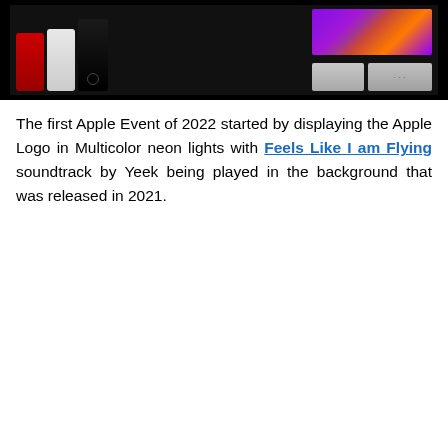[Figure (photo): Apple product lineup image on black background showing iPhones in red, white, and black/midnight colors alongside an iPad with colorful abstract wallpaper, Mac mini, and Apple TV]
The first Apple Event of 2022 started by displaying the Apple Logo in Multicolor neon lights with Feels Like I am Flying soundtrack by Yeek being played in the background that was released in 2021.